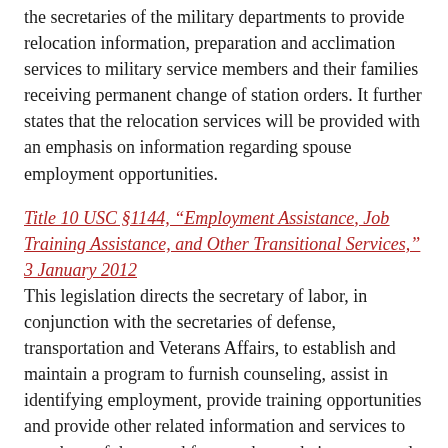the secretaries of the military departments to provide relocation information, preparation and acclimation services to military service members and their families receiving permanent change of station orders. It further states that the relocation services will be provided with an emphasis on information regarding spouse employment opportunities.
Title 10 USC §1144, “Employment Assistance, Job Training Assistance, and Other Transitional Services,” 3 January 2012
This legislation directs the secretary of labor, in conjunction with the secretaries of defense, transportation and Veterans Affairs, to establish and maintain a program to furnish counseling, assist in identifying employment, provide training opportunities and provide other related information and services to members of the armed forces who are being separated from active duty and the spouses of such members.
Title 10 USC §1784, “Employment Opportunities for Military